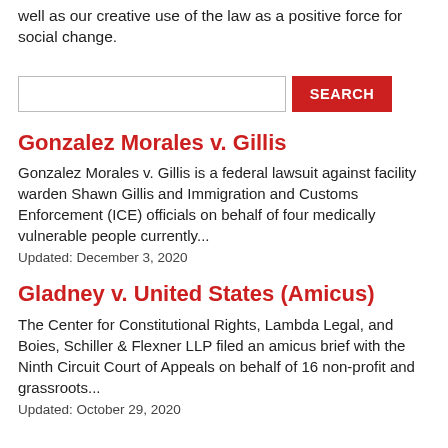well as our creative use of the law as a positive force for social change.
SEARCH
Gonzalez Morales v. Gillis
Gonzalez Morales v. Gillis is a federal lawsuit against facility warden Shawn Gillis and Immigration and Customs Enforcement (ICE) officials on behalf of four medically vulnerable people currently...
Updated: December 3, 2020
Gladney v. United States (Amicus)
The Center for Constitutional Rights, Lambda Legal, and Boies, Schiller & Flexner LLP filed an amicus brief with the Ninth Circuit Court of Appeals on behalf of 16 non-profit and grassroots...
Updated: October 29, 2020